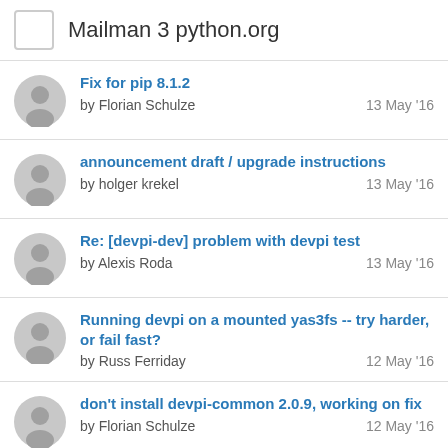Mailman 3 python.org
Fix for pip 8.1.2
by Florian Schulze
13 May '16
announcement draft / upgrade instructions
by holger krekel
13 May '16
Re: [devpi-dev] problem with devpi test
by Alexis Roda
13 May '16
Running devpi on a mounted yas3fs -- try harder, or fail fast?
by Russ Ferriday
12 May '16
don't install devpi-common 2.0.9, working on fix
by Florian Schulze
12 May '16